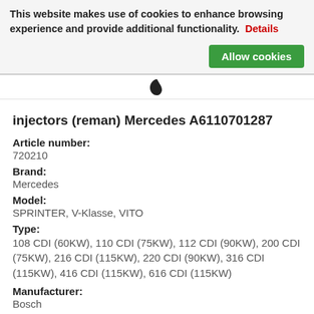This website makes use of cookies to enhance browsing experience and provide additional functionality.  Details   Allow cookies
[Figure (logo): Small black leaf/drop logo mark]
injectors (reman) Mercedes A6110701287
Article number:
720210
Brand:
Mercedes
Model:
SPRINTER, V-Klasse, VITO
Type:
108 CDI (60KW), 110 CDI (75KW), 112 CDI (90KW), 200 CDI (75KW), 216 CDI (115KW), 220 CDI (90KW), 316 CDI (115KW), 416 CDI (115KW), 616 CDI (115KW)
Manufacturer:
Bosch
● Ready on stock